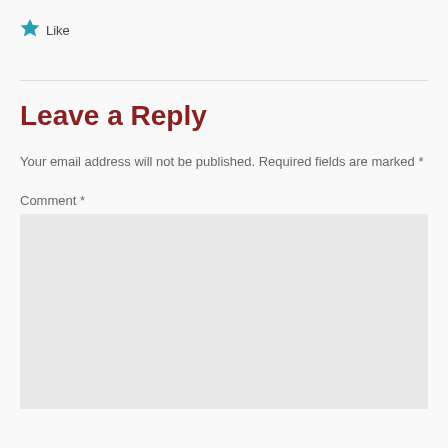[Figure (other): Blue star icon with 'Like' text beside it]
Leave a Reply
Your email address will not be published. Required fields are marked *
Comment *